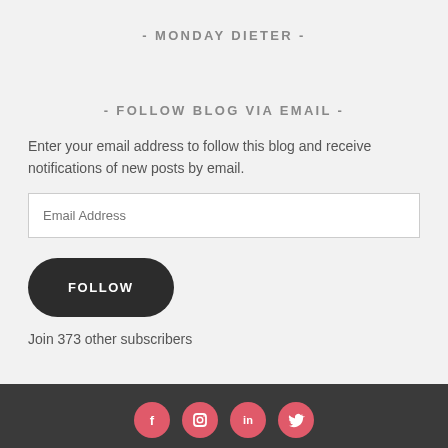- MONDAY DIETER -
- FOLLOW BLOG VIA EMAIL -
Enter your email address to follow this blog and receive notifications of new posts by email.
Email Address
FOLLOW
Join 373 other subscribers
[Figure (other): Footer bar with four circular social media icons (Facebook, Instagram, LinkedIn, Twitter) on a dark grey background]